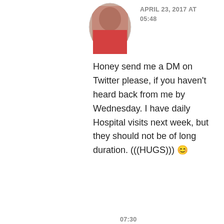[Figure (photo): Circular avatar photo of a person, partially visible, cropped at top]
APRIL 23, 2017 AT 05:48
Honey send me a DM on Twitter please, if you haven't heard back from me by Wednesday. I have daily Hospital visits next week, but they should not be of long duration. (((HUGS))) 😊
★ Like
Privacy & Cookies: This site uses cookies. By continuing to use this website, you agree to their use.
To find out more, including how to control cookies, see here: Cookie Policy
Close and accept
07:30